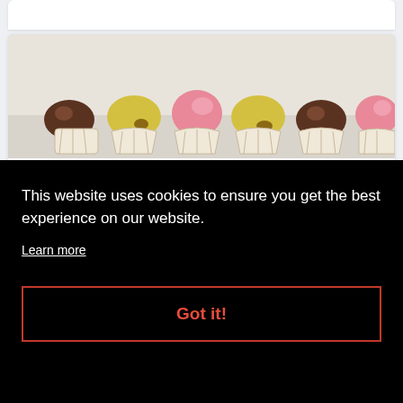[Figure (photo): Row of colorful cupcakes (chocolate, yellow/lemon, pink frosted) lined up against a light grey/white textured background]
The Future of HFSS Promotions
This website uses cookies to ensure you get the best experience on our website.
Learn more
Got it!
[Figure (photo): Store shelf stocked with various packaged food and confectionery products in bright packaging]